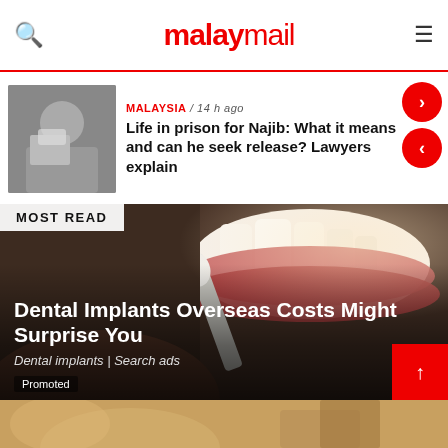malaymail
MALAYSIA / 14 h ago
Life in prison for Najib: What it means and can he seek release? Lawyers explain
[Figure (photo): Photo of Najib with face mask]
MOST READ
[Figure (photo): Close-up photo of dental implant color matching tool against teeth]
Dental Implants Overseas Costs Might Surprise You
Dental implants | Search ads
Promoted
[Figure (photo): Partial image of a person on a couch, warm tones]